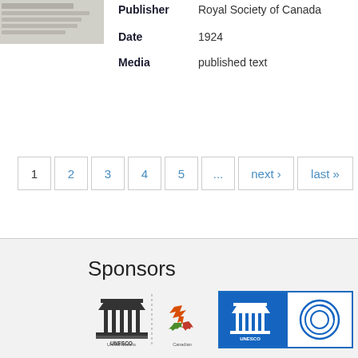[Figure (photo): Thumbnail image of a document page, grey/beige toned]
| Publisher | Royal Society of Canada |
| Date | 1924 |
| Media | published text |
Pagination: 1  2  3  4  5  ...  next›  last»
Sponsors
[Figure (logo): UNESCO + Canadian commission logos side by side, and a blue UNESCO/circular logo box]